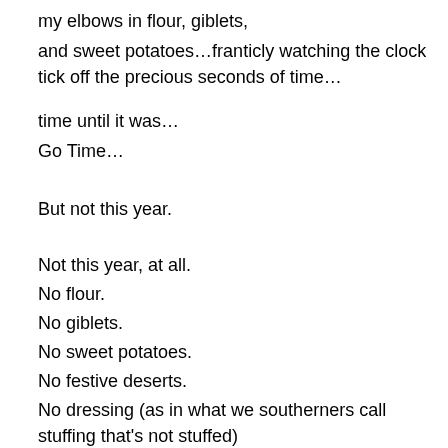my elbows in flour, giblets,
and sweet potatoes…franticly watching the clock tick off the precious seconds of time…
time until it was…
Go Time…
But not this year.
Not this year, at all.
No flour.
No giblets.
No sweet potatoes.
No festive deserts.
No dressing (as in what we southerners call stuffing that's not stuffed)
All simply…
no….